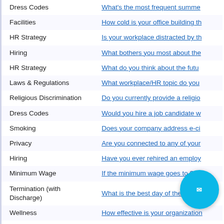| Category | Poll Question |
| --- | --- |
| Dress Codes | What's the most frequent summe... |
| Facilities | How cold is your office building th... |
| HR Strategy | Is your workplace distracted by th... |
| Hiring | What bothers you most about the... |
| HR Strategy | What do you think about the futu... |
| Laws & Regulations | What workplace/HR topic do you... |
| Religious Discrimination | Do you currently provide a religio... |
| Dress Codes | Would you hire a job candidate w... |
| Smoking | Does your company address e-ci... |
| Privacy | Are you connected to any of your... |
| Hiring | Have you ever rehired an employ... |
| Minimum Wage | If the minimum wage goes to $10... |
| Termination (with Discharge) | What is the best day of the week... |
| Wellness | How effective is your organization... |
| Leadership | How would you rate your relation... |
| Hiring | Does your organiza...ely m... |
| Hours of Work | Does your organiz...flexi... |
| Dress Codes | What's the most frequent summe... |
| Job Recognition | Does your organiz...M... |